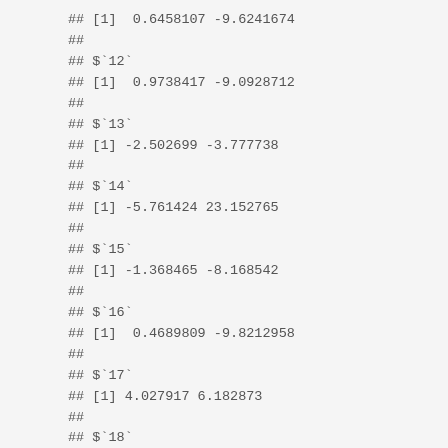## [1]  0.6458107 -9.6241674
##
## $`12`
## [1]  0.9738417 -9.0928712
##
## $`13`
## [1] -2.502699 -3.777738
##
## $`14`
## [1] -5.761424 23.152765
##
## $`15`
## [1] -1.368465 -8.168542
##
## $`16`
## [1]  0.4689809 -9.8212958
##
## $`17`
## [1] 4.027917 6.182873
##
## $`18`
## [1] -1.066858 -8.903053
##
## $`19`